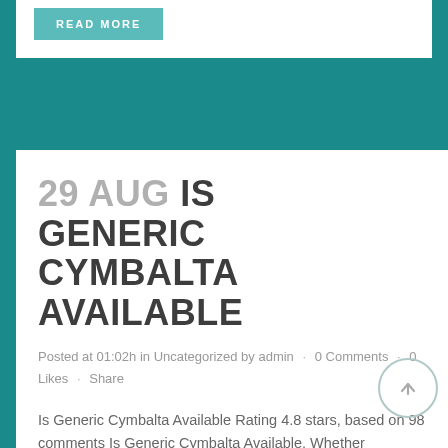[Figure (other): READ MORE button, teal/muted green color with white uppercase bold text]
29 AUG IS GENERIC CYMBALTA AVAILABLE
Posted at 01:02h in Uncategorized by admin · 0 Comments · 0 Likes · Share
Is Generic Cymbalta Available Rating 4.8 stars, based on 98 comments Is Generic Cymbalta Available. Whether